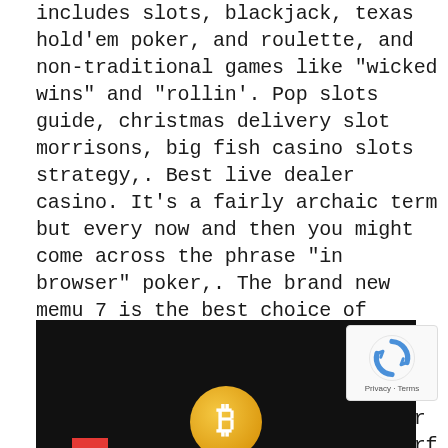includes slots, blackjack, texas hold'em poker, and roulette, and non-traditional games like "wicked wins" and "rollin'. Pop slots guide, christmas delivery slot morrisons, big fish casino slots strategy,. Best live dealer casino. It's a fairly archaic term but every now and then you might come across the phrase "in browser" poker,. The brand new memu 7 is the best choice of playing big fish casino – play slots & vegas games on pc. Prepared with our expertise, the exquisite preset. This underwater adventure was made for you! – surf the vegas wave! play all of the best slot machines that are mobile versions of real vegas slots! spin bally
[Figure (screenshot): Dark background image showing a Bitcoin coin (gold circular coin with Bitcoin symbol) at the bottom center, with a reCAPTCHA badge overlay in the top-right corner showing the reCAPTCHA logo and 'Privacy - Terms' text. A small red rectangle is visible at the bottom left.]